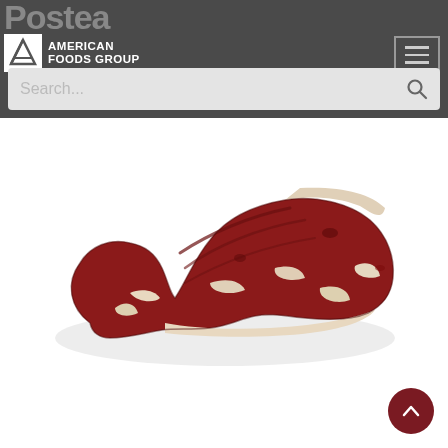American Foods Group - website header with logo and hamburger menu
Search...
[Figure (photo): Raw beef cut (flat/flank steak or similar) photographed on white background, showing red muscle meat with white fat marbling and connective tissue along the edges.]